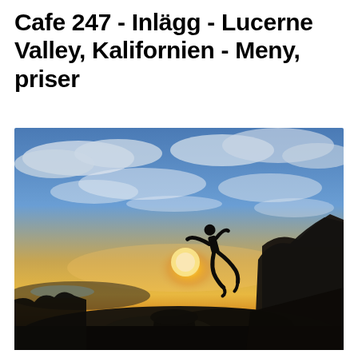Cafe 247 - Inlägg - Lucerne Valley, Kalifornien - Meny, priser
[Figure (photo): Silhouette of a person jumping over rocks against a dramatic sunset sky with clouds, mountains in the background.]